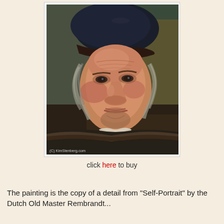[Figure (illustration): Oil painting copy of Rembrandt's Self-Portrait showing an elderly man with a dark beret, grey curly hair, and dark clothing, looking directly at viewer. Watermark reads '(C) KimStenberg.com']
click here to buy
The painting is the copy of a detail from "Self-Portrait" by the Dutch Old Master Rembrandt...